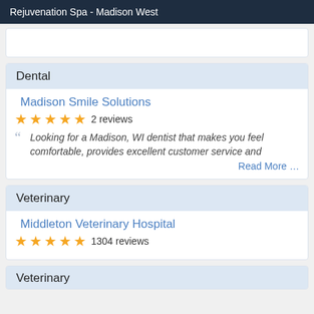Rejuvenation Spa - Madison West
Dental
Madison Smile Solutions
★★★★★ 2 reviews
Looking for a Madison, WI dentist that makes you feel comfortable, provides excellent customer service and
Read More …
Veterinary
Middleton Veterinary Hospital
★★★★★ 1304 reviews
Veterinary